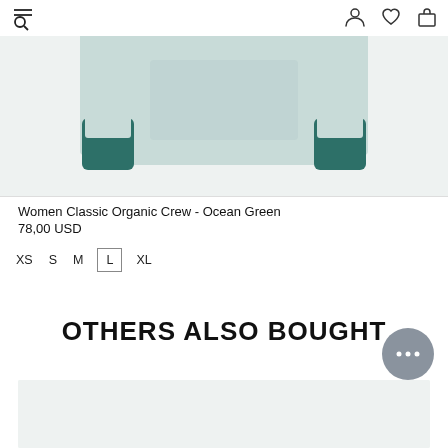navigation icons: menu/search, user, wishlist, cart
[Figure (illustration): Partial product image of a light green/mint sweatshirt with dark teal/green cuffs on a light gray background, showing only the lower portion of the garment]
Women Classic Organic Crew - Ocean Green
78,00 USD
XS  S  M  [L]  XL
OTHERS ALSO BOUGHT
[Figure (illustration): Bottom strip showing beginning of another product image on a light gray background]